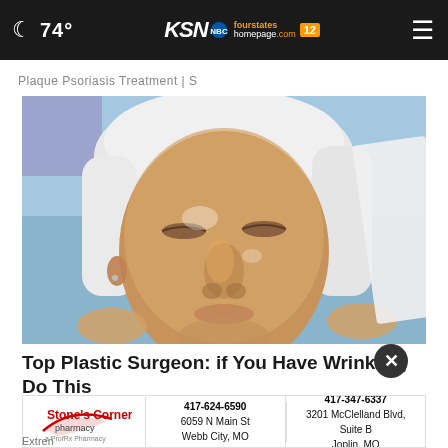74° KSN fourstates homepage.com 12
Plaque Psoriasis Treatment | S
[Figure (photo): Close-up of a woman's face covered in a shiny treatment or cream, with a white towel wrapped around her head, eyes closed, appearing to be receiving a facial treatment.]
Top Plastic Surgeon: if You Have Wrinkles, Do This
[Figure (infographic): Advertisement for Stone's Corner Pharmacy with two locations: 417-624-6590, 6059 N Main St, Webb City, MO and 417-347-6337, 3201 McClelland Blvd, Suite B, Joplin, MO]
Extren